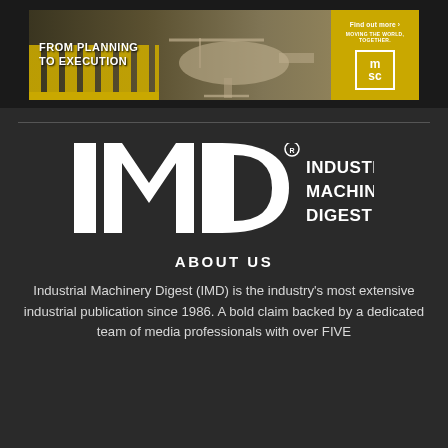[Figure (illustration): MSC banner advertisement with text 'FROM PLANNING TO EXECUTION', a helicopter/aircraft image in industrial setting, and MSC logo with 'Find out more' and 'MOVING THE WORLD, TOGETHER.' tagline]
[Figure (logo): IMD - Industrial Machinery Digest logo in white on dark background]
ABOUT US
Industrial Machinery Digest (IMD) is the industry's most extensive industrial publication since 1986. A bold claim backed by a dedicated team of media professionals with over FIVE